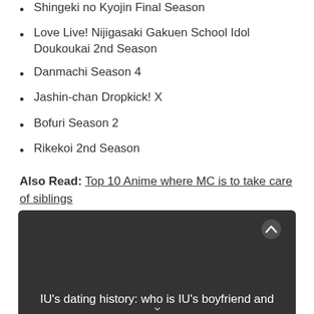Shingeki no Kyojin Final Season
Love Live! Nijigasaki Gakuen School Idol Doukoukai 2nd Season
Danmachi Season 4
Jashin-chan Dropkick! X
Bofuri Season 2
Rikekoi 2nd Season
Also Read: Top 10 Anime where MC is to take care of siblings
[Figure (other): Dark card/banner showing text: IU's dating history: who is IU's boyfriend and... with a chevron up arrow icon]